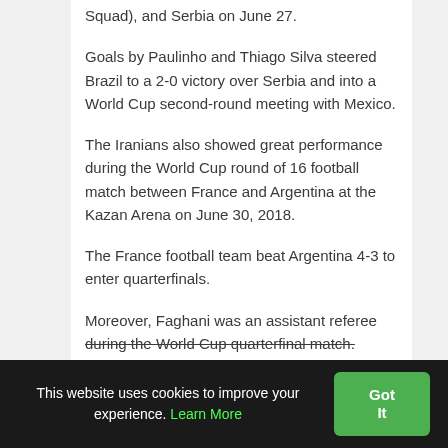Squad), and Serbia on June 27.
Goals by Paulinho and Thiago Silva steered Brazil to a 2-0 victory over Serbia and into a World Cup second-round meeting with Mexico.
The Iranians also showed great performance during the World Cup round of 16 football match between France and Argentina at the Kazan Arena on June 30, 2018.
The France football team beat Argentina 4-3 to enter quarterfinals.
Moreover, Faghani was an assistant referee during the World Cup quarterfinal match.
This website uses cookies to improve your experience. Learn More